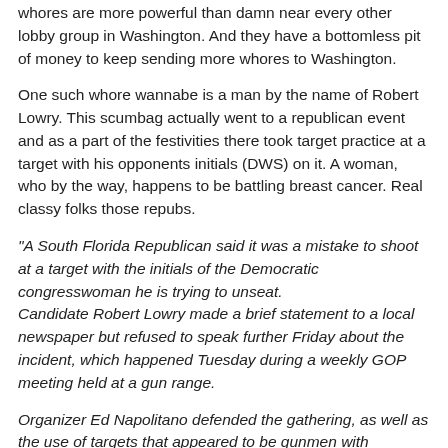whores are more powerful than damn near every other lobby group in Washington. And they have a bottomless pit of money to keep sending more whores to Washington.
One such whore wannabe is a man by the name of Robert Lowry. This scumbag actually went to a republican event and as a part of the festivities there took target practice at a target with his opponents initials (DWS) on it. A woman, who by the way, happens to be battling breast cancer. Real classy folks those repubs.
"A South Florida Republican said it was a mistake to shoot at a target with the initials of the Democratic congresswoman he is trying to unseat. Candidate Robert Lowry made a brief statement to a local newspaper but refused to speak further Friday about the incident, which happened Tuesday during a weekly GOP meeting held at a gun range.
Organizer Ed Napolitano defended the gathering, as well as the use of targets that appeared to be gunmen with traditional Arab head scarves."